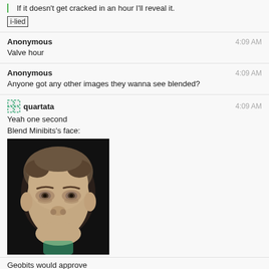If it doesn't get cracked in an hour I'll reveal it.
i-lied
Anonymous 4:09 AM
Valve hour
Anonymous 4:09 AM
Anyone got any other images they wanna see blended?
quartata 4:09 AM
Yeah one second
Blend Minibits's face:
[Figure (photo): A young boy with a pouty/sad expression looking upward, photographed against a dark background]
Geobits would approve
PhiNotPi 4:13 AM